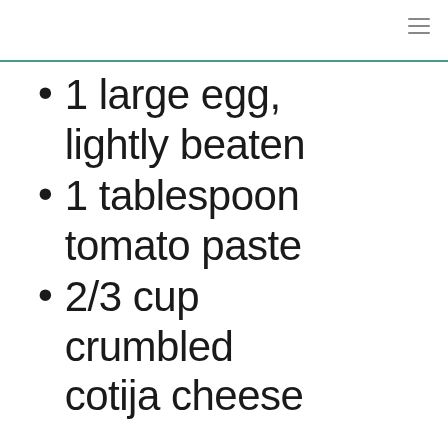1 large egg, lightly beaten
1 tablespoon tomato paste
2/3 cup crumbled cotija cheese